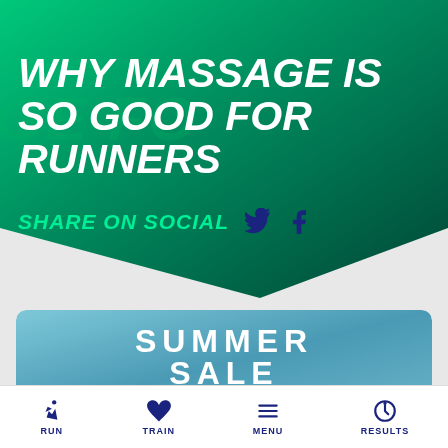WHY MASSAGE IS SO GOOD FOR RUNNERS
SHARE ON SOCIAL
[Figure (infographic): Summer sale banner with teal gradient background showing SUMMER SALE text and a pill-shaped button reading FIRST MONTH FOR £1]
RUN  TRAIN  MENU  RESULTS